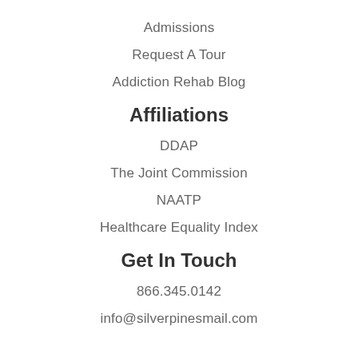Admissions
Request A Tour
Addiction Rehab Blog
Affiliations
DDAP
The Joint Commission
NAATP
Healthcare Equality Index
Get In Touch
866.345.0142
info@silverpinesmail.com